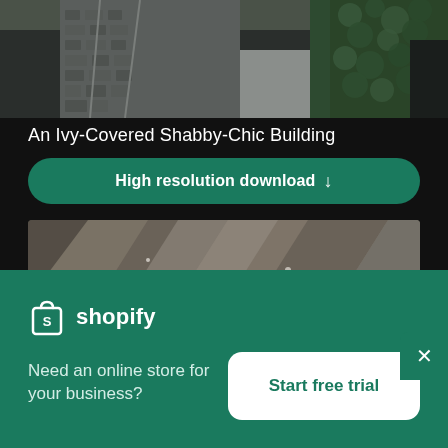[Figure (photo): Partial view of an ivy-covered building with a cobblestone path, viewed from above. Dark tones.]
An Ivy-Covered Shabby-Chic Building
High resolution download ↓
[Figure (photo): Close-up macro photograph of rough stone or rock texture with water droplets or crystalline formations.]
[Figure (logo): Shopify logo — shopping bag icon and 'shopify' wordmark in white on green background]
Need an online store for your business?
Start free trial